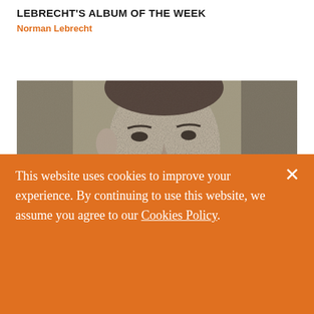LEBRECHT'S ALBUM OF THE WEEK
Norman Lebrecht
[Figure (photo): Black and white portrait photograph of a young man, cropped to show head and shoulders, looking slightly to the side with a serious expression.]
This website uses cookies to improve your experience. By continuing to use this website, we assume you agree to our Cookies Policy.